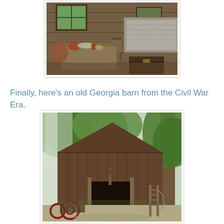[Figure (photo): Interior of a Civil War era log cabin showing a wooden table with pottery and dishes, chairs, a bed with a patterned coverlet, and a wooden trunk on a dirt floor with log walls.]
Finally, here's an old Georgia barn from the Civil War Era.
[Figure (photo): Exterior of an old weathered wooden Georgia barn from the Civil War Era, surrounded by trees with green foliage, with farm equipment visible near the open doorway.]